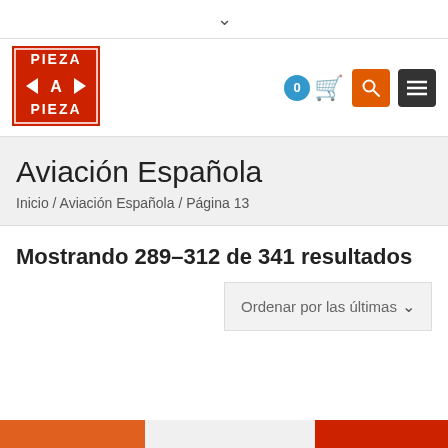▼
[Figure (logo): Pieza a Pieza logo — red square with white bold text PIEZA on top, PIEZA on bottom, A in centre with wing arrows]
Aviación Española
Inicio / Aviación Española / Página 13
Mostrando 289–312 de 341 resultados
Ordenar por las últimas
[Figure (screenshot): Partial coloured image strip at bottom of page showing orange, white and red sections]